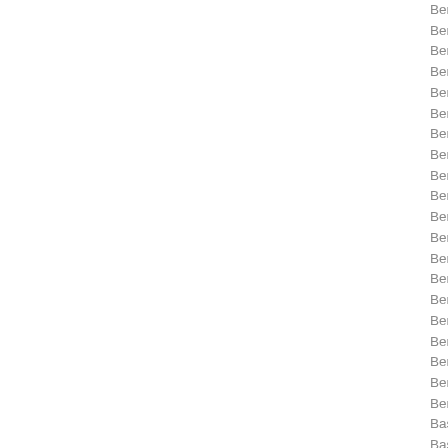Bench Scale, D5
Bench Scale, D5
Bench Scale, D5
Bench Scale, D5
Bench Scale, D5
Bench Scale, D5
Bench Scale, D5
Bench Scale, D5
Bench Scale, D5
Bench Scale, D5
Bench Scale, D5
Bench Scale, D5
Bench Scale, D5
Bench Scale, D5
Bench Scale, D5
Bench Scale, D5
Bench Scale, D5
Bench Scale, D5
Bench Scale, D5
Bench Scale, D5
Base, D150RTDY
Base, D300RTDY
Base, D600RTDY
Base, D150WTD
Bench Scale, D5
Bench Scale, D5
Bench Scale, D5
Bench Scale, D5
Base, D39WO